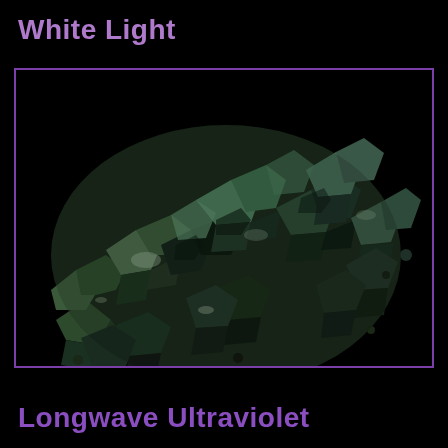White Light
[Figure (photo): A cluster of fluorite mineral crystals photographed under white light. The specimen shows multiple cubic crystal faces with green, dark green, and black coloration. The crystals have a stepped, blocky texture characteristic of fluorite. Background is black.]
Longwave Ultraviolet